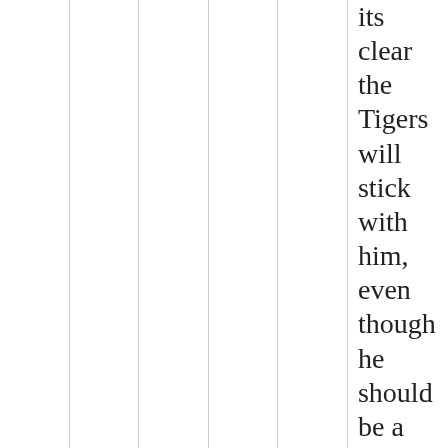its clear the Tigers will stick with him, even though he should be a decent